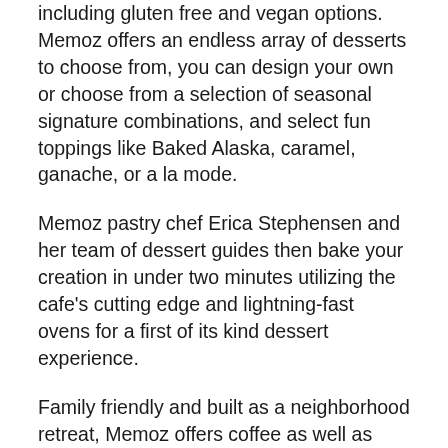including gluten free and vegan options. Memoz offers an endless array of desserts to choose from, you can design your own or choose from a selection of seasonal signature combinations, and select fun toppings like Baked Alaska, caramel, ganache, or a la mode.
Memoz pastry chef Erica Stephensen and her team of dessert guides then bake your creation in under two minutes utilizing the cafe's cutting edge and lightning-fast ovens for a first of its kind dessert experience.
Family friendly and built as a neighborhood retreat, Memoz offers coffee as well as beer and wine for those old enough to imbibe. For families, board games and a relaxed atmosphere invites you to come and stay awhile. Memoz is open all day, 12 to 9 pm Sunday through Thursday and is open late on Fridays and Saturdays from 12 to 11...